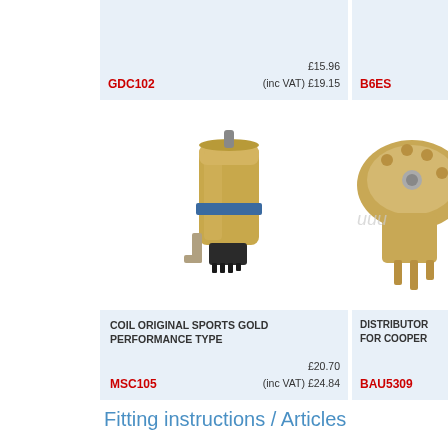GDC102 | £15.96 (inc VAT) £19.15
B6ES
[Figure (photo): Gold ignition coil - Original Sports Gold Performance Type]
[Figure (photo): Distributor for Cooper - partially visible]
COIL ORIGINAL SPORTS GOLD PERFORMANCE TYPE
MSC105 | £20.70 (inc VAT) £24.84
DISTRIBUTOR FOR COOPER
BAU5309
Fitting instructions / Articles
Fitting Minispares electronic dizzys 1959 to 1982 non ballast type ignition
[Figure (photo): Three electronic distributor/ignition components shown at bottom of page]